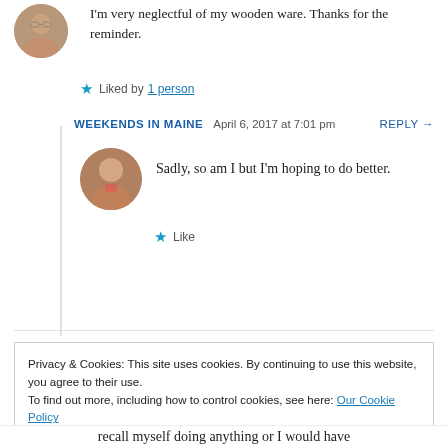I'm very neglectful of my wooden ware. Thanks for the reminder.
Liked by 1 person
WEEKENDS IN MAINE   April 6, 2017 at 7:01 pm   REPLY →
Sadly, so am I but I'm hoping to do better.
Like
Privacy & Cookies: This site uses cookies. By continuing to use this website, you agree to their use.
To find out more, including how to control cookies, see here: Our Cookie Policy
Close and accept
recall myself doing anything or I would have